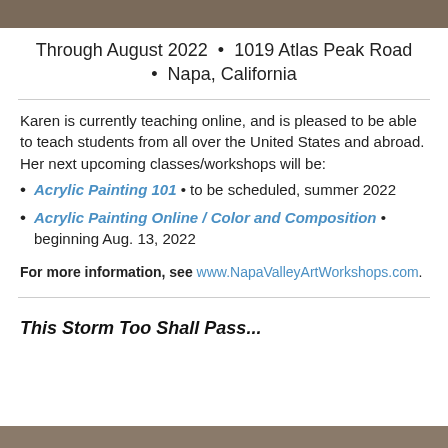[Figure (photo): Photo strip at the top of the page]
Through August 2022  •  1019 Atlas Peak Road  •  Napa, California
Karen is currently teaching online, and is pleased to be able to teach students from all over the United States and abroad. Her next upcoming classes/workshops will be:
Acrylic Painting 101 • to be scheduled, summer 2022
Acrylic Painting Online / Color and Composition • beginning Aug. 13, 2022
For more information, see www.NapaValleyArtWorkshops.com.
This Storm Too Shall Pass...
[Figure (photo): Photo strip at the bottom of the page]